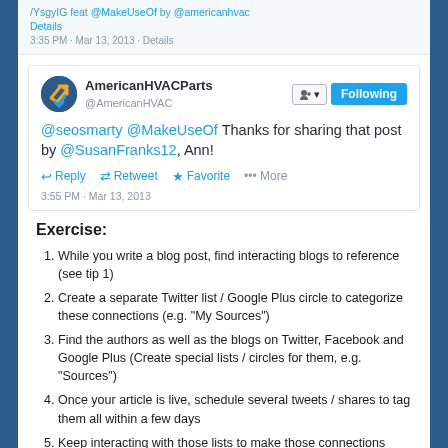[Figure (screenshot): Truncated tweet at top showing '/YsgyIG feat @MakeUseOf by @americanhvac' with 'Details' link and timestamp '3:35 PM · Mar 13, 2013 · Details']
[Figure (screenshot): Twitter card for AmericanHVACParts (@AmericanHVAC) with Following button. Tweet text: '@seosmarty @MakeUseOf Thanks for sharing that post by @SusanFranks12, Ann!' with Reply, Retweet, Favorite, More actions. Timestamp: 3:55 PM · Mar 13, 2013]
Exercise:
While you write a blog post, find interacting blogs to reference (see tip 1)
Create a separate Twitter list / Google Plus circle to categorize these connections (e.g. “My Sources”)
Find the authors as well as the blogs on Twitter, Facebook and Google Plus (Create special lists / circles for them, e.g. “Sources”)
Once your article is live, schedule several tweets / shares to tag them all within a few days
Keep interacting with those lists to make those connections